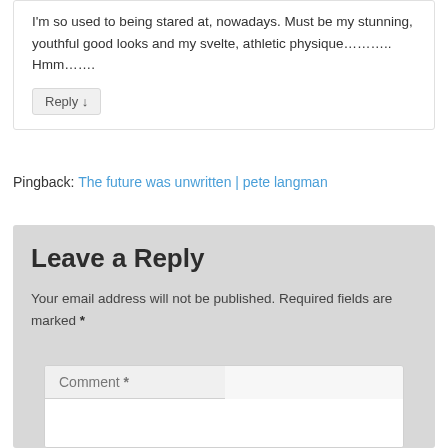I'm so used to being stared at, nowadays. Must be my stunning, youthful good looks and my svelte, athletic physique……….. Hmm…….
Reply ↓
Pingback: The future was unwritten | pete langman
Leave a Reply
Your email address will not be published. Required fields are marked *
Comment *